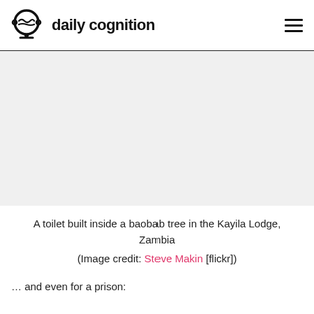daily cognition
[Figure (photo): A blank/placeholder image area representing a photo of a toilet built inside a baobab tree in the Kayila Lodge, Zambia]
A toilet built inside a baobab tree in the Kayila Lodge, Zambia
(Image credit: Steve Makin [flickr])
… and even for a prison: